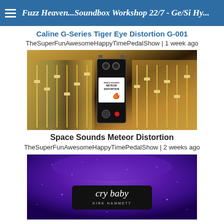Fuzz Heaven...Soundbox Workshop 22/7 - Ge/Si Hy...
Caline G-Series Tiger Eye Distortion G-001
TheSuperFunAwesomeHappyTimePedalShow | 1 week ago
[Figure (photo): Photo of a Space Sounds Meteor Distortion guitar effects pedal placed on a mixing console/board in a recording studio setting. The pedal is black with a meteor/fireball logo.]
Space Sounds Meteor Distortion
TheSuperFunAwesomeHappyTimePedalShow | 2 weeks ago
[Figure (photo): Close-up photo of a purple glitter Dunlop Cry Baby Kirk Hammett signature wah pedal.]